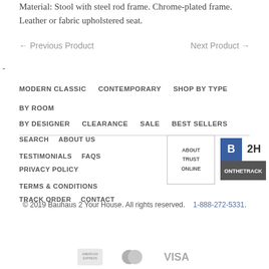Material: Stool with steel rod frame. Chrome-plated frame. Leather or fabric upholstered seat.
← Previous Product    Next Product →
-
MODERN CLASSIC  CONTEMPORARY  SHOP BY TYPE  BY ROOM  BY DESIGNER  CLEARANCE  SALE  BEST SELLERS
SEARCH  ABOUT US  TESTIMONIALS  FAQS  PRIVACY POLICY  TERMS & CONDITIONS  TRACK ORDER  CONTACT
© 2019 Bauhaus 2 Your House. All rights reserved.  1-888-272-5331.
[Figure (logo): Payment icons: American Express, MasterCard, Visa]
[Figure (logo): Trust badge: ABOUT TRUST ONLINE box and B2H logo]